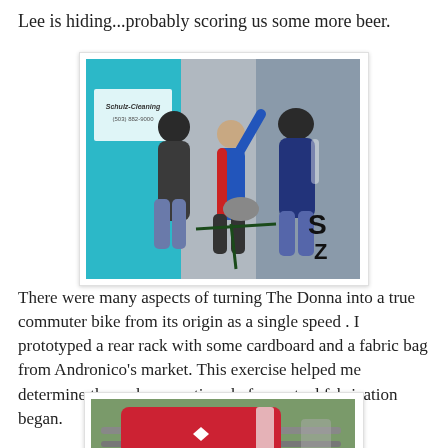Lee is hiding...probably scoring us some more beer.
[Figure (photo): Outdoor scene with several people standing near a teal/turquoise booth or tent. A sign reads 'Schulz Cleaning (503) 882-9000'. People are interacting; one person in a blue and red cycling jacket has their arm raised. Bicycles visible in background.]
There were many aspects of turning The Donna into a true commuter bike from its origin as a single speed . I prototyped a rear rack with some cardboard and a fabric bag from Andronico's market. This exercise helped me determine the rack proportions before actual fabrication began.
[Figure (photo): A red Andronico's market bag/tote sitting on what appears to be a bicycle rack prototype made of metal tubing, outdoors in a garden setting.]